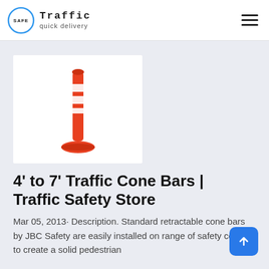[Figure (logo): Safe Traffic quick delivery logo — circular blue outline badge with SAFE text inside, next to the words 'Traffic' in monospace and 'quick delivery' below]
[Figure (photo): Orange and white traffic delineator post / cone bar on a white background]
4' to 7' Traffic Cone Bars | Traffic Safety Store
Mar 05, 2013· Description. Standard retractable cone bars by JBC Safety are easily installed on range of safety cones to create a solid pedestrian